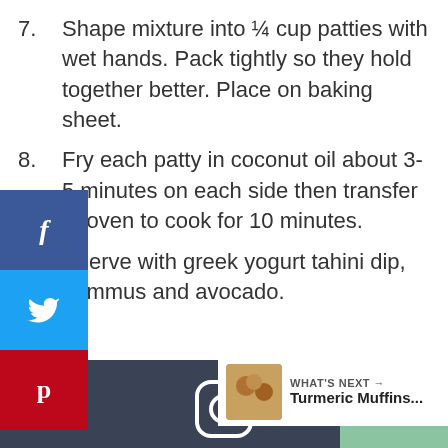7. Shape mixture into ¼ cup patties with wet hands. Pack tightly so they hold together better. Place on baking sheet.
8. Fry each patty in coconut oil about 3-5 minutes on each side then transfer to oven to cook for 10 minutes.
9. Serve with greek yogurt tahini dip, hummus and avocado.
[Figure (infographic): Dark banner with Instagram icon, 'Tried this recipe?' in teal, 'Mention @dishingupbalance or tag #dishingupbalance' in light gray. Heart button (teal), count 119, share button on right side. Social share sidebar with Facebook, Twitter, Pinterest buttons on left.]